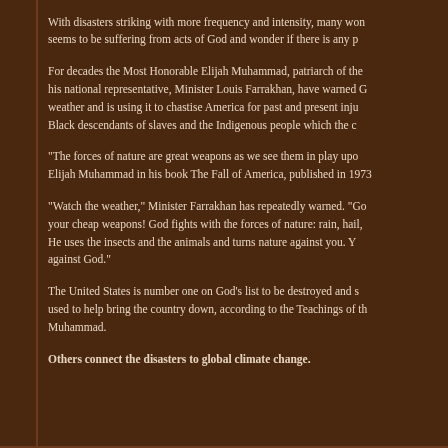With disasters striking with more frequency and intensity, many wonder what seems to be suffering from acts of God and wonder if there is any pr...
For decades the Most Honorable Elijah Muhammad, patriarch of the... his national representative, Minister Louis Farrakhan, have warned... weather and is using it to chastise America for past and present inju... Black descendants of slaves and the Indigenous people which the c...
“The forces of nature are great weapons as we see them in play upo... Elijah Muhammad in his book The Fall of America, published in 1973...
“Watch the weather,” Minister Farrakhan has repeatedly warned. “Go... your cheap weapons! God fights with the forces of nature: rain, hail,... He uses the insects and the animals and turns nature against you. Y... against God.”
The United States is number one on God’s list to be destroyed and s... used to help bring the country down, according to the Teachings of th... Muhammad.
Others connect the disasters to global climate change.